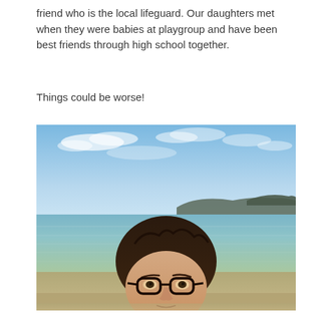friend who is the local lifeguard. Our daughters met when they were babies at playgroup and have been best friends through high school together.
Things could be worse!
[Figure (photo): A selfie photo of a woman with dark hair and glasses at a beach. The background shows a calm sea, a distant headland/cliffs, and a bright blue sky with light clouds.]